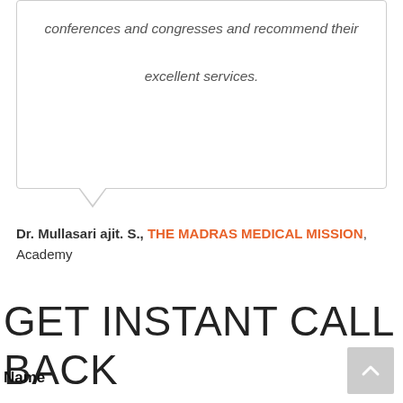conferences and congresses and recommend their excellent services.
Dr. Mullasari ajit. S., THE MADRAS MEDICAL MISSION, Academy
GET INSTANT CALL BACK
Name